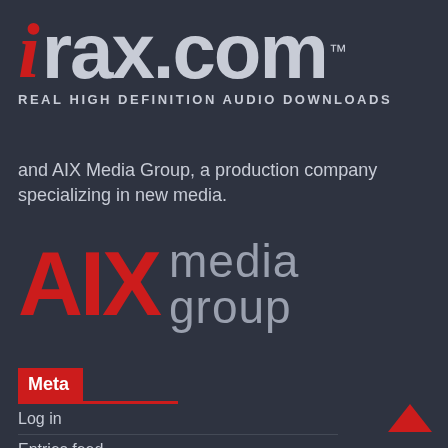[Figure (logo): iTrax.com logo with red italic 'i', gray 'rax.com' and TM mark, tagline 'REAL HIGH DEFINITION AUDIO DOWNLOADS']
and AIX Media Group, a production company specializing in new media.
[Figure (logo): AIX media group logo with large red bold 'AIX' and gray 'media group' text]
Meta
Log in
Entries feed
Comments feed
WordPress.org